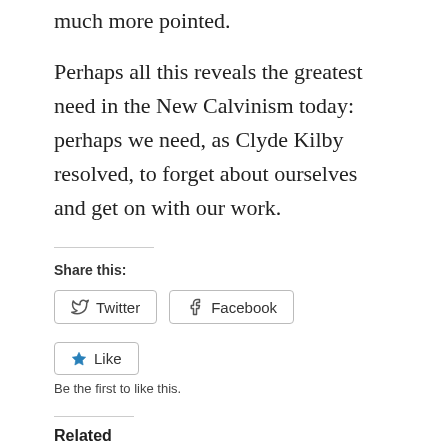much more pointed.
Perhaps all this reveals the greatest need in the New Calvinism today: perhaps we need, as Clyde Kilby resolved, to forget about ourselves and get on with our work.
Share this:
Twitter | Facebook (share buttons)
Like | Be the first to like this.
Related
Can't Tie Me Down
January 27, 2014
Ends and Means
June 17, 2013